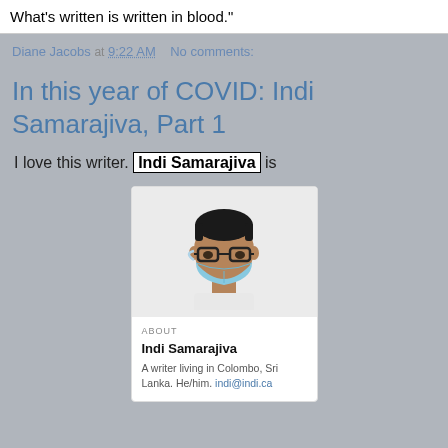What's written is written in blood."
Diane Jacobs at 9:22 AM   No comments:
In this year of COVID: Indi Samarajiva, Part 1
I love this writer. Indi Samarajiva is
[Figure (illustration): A card with an illustrated avatar of a person wearing glasses and a light blue face mask, with an 'ABOUT' section below showing name 'Indi Samarajiva', description 'A writer living in Colombo, Sri Lanka. He/him. indi@indi.ca']